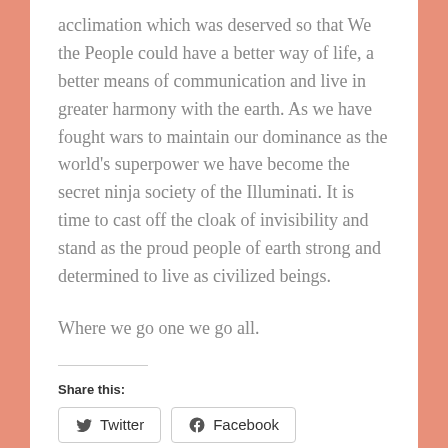acclimation which was deserved so that We the People could have a better way of life, a better means of communication and live in greater harmony with the earth. As we have fought wars to maintain our dominance as the world's superpower we have become the secret ninja society of the Illuminati. It is time to cast off the cloak of invisibility and stand as the proud people of earth strong and determined to live as civilized beings.
Where we go one we go all.
Share this:
Twitter  Facebook
Loading...